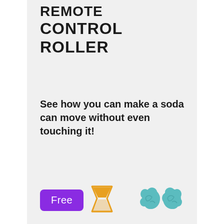REMOTE CONTROL ROLLER
See how you can make a soda can move without even touching it!
[Figure (infographic): Bottom bar with purple 'Free' button, hourglass icon in orange/gold, and two teal brain icons on the right]